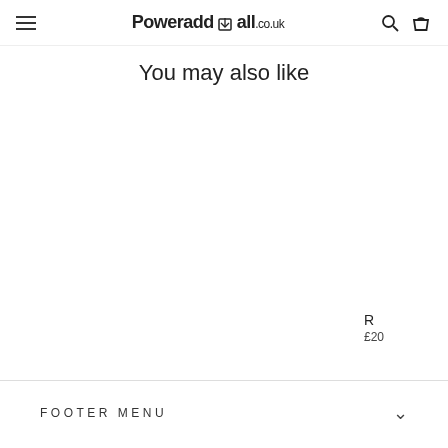Poweraddmall.co.uk
You may also like
R
£20
FOOTER MENU